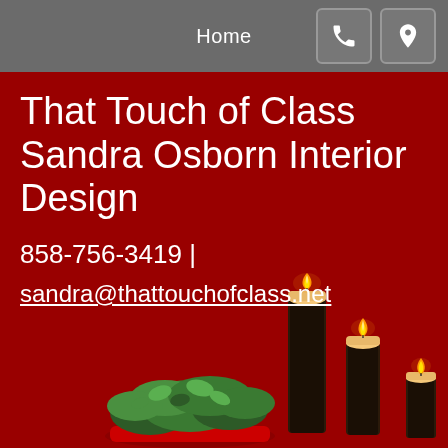Home
That Touch of Class Sandra Osborn Interior Design
858-756-3419  |
sandra@thattouchofclass.net
[Figure (photo): Bottom portion of red background with a decorative holly/evergreen plant arrangement on the left and three dark candles with lit flames on the right]